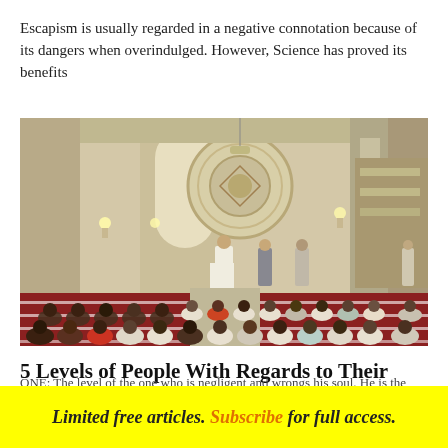Escapism is usually regarded in a negative connotation because of its dangers when overindulged. However, Science has proved its benefits
[Figure (photo): Interior of a mosque with people sitting in rows during prayer. An imam stands at the front facing the ornate qibla wall with a large circular decorative medallion. Red carpets with white prayer lines are visible on the floor.]
5 Levels of People With Regards to Their Prayer
ONE: The level of the one who is negligent and wrongs his soul. He is the one who falls short
Limited free articles. Subscribe for full access.